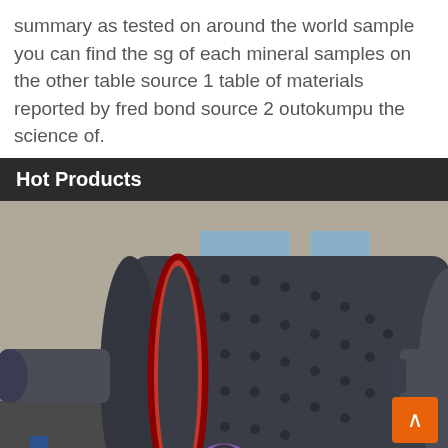summary as tested on around the world sample you can find the sg of each mineral samples on the other table source 1 table of materials reported by fred bond source 2 outokumpu the science of.
Hot Products
[Figure (photo): Industrial ball mill machine, large cylindrical dark grey grinding mill with red gear ring and bolted drum, photographed outdoors near a warehouse building.]
Leave Message   Chat Online